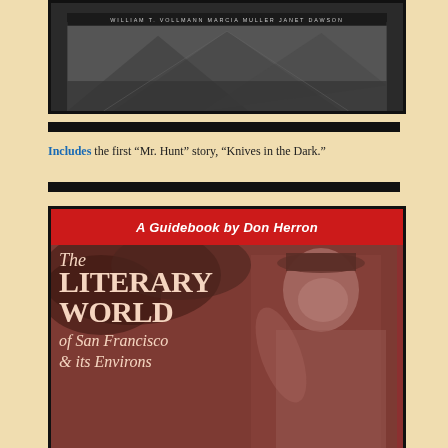[Figure (photo): Book cover showing authors William T. Vollmann, Marcia Muller, Janet Dawson, with a black and white photograph background]
Includes the first “Mr. Hunt” story, “Knives in the Dark.”
[Figure (photo): Book cover: 'The Literary World of San Francisco & its Environs, A Guidebook by Don Herron' with a sepia-toned photograph of a man smiling, wearing a hat and jacket]